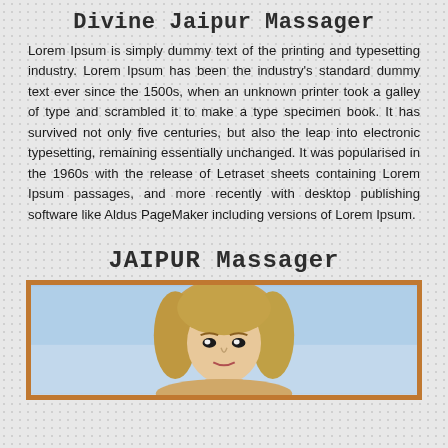Divine Jaipur Massager
Lorem Ipsum is simply dummy text of the printing and typesetting industry. Lorem Ipsum has been the industry's standard dummy text ever since the 1500s, when an unknown printer took a galley of type and scrambled it to make a type specimen book. It has survived not only five centuries, but also the leap into electronic typesetting, remaining essentially unchanged. It was popularised in the 1960s with the release of Letraset sheets containing Lorem Ipsum passages, and more recently with desktop publishing software like Aldus PageMaker including versions of Lorem Ipsum.
JAIPUR Massager
[Figure (photo): A woman with blonde hair photographed outdoors against a light blue sky background, shown from approximately shoulder level up, looking directly at the camera.]